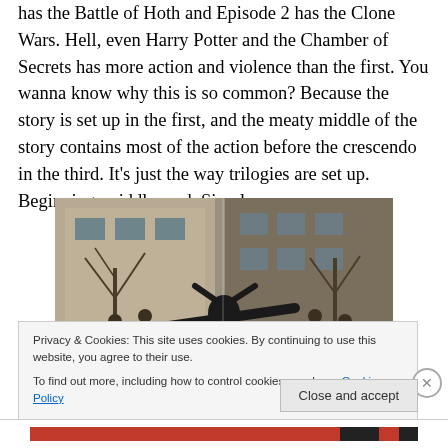has the Battle of Hoth and Episode 2 has the Clone Wars. Hell, even Harry Potter and the Chamber of Secrets has more action and violence than the first. You wanna know why this is so common? Because the story is set up in the first, and the meaty middle of the story contains most of the action before the crescendo in the third. It's just the way trilogies are set up. Beginning, middle, end. Simple.
[Figure (photo): Action scene showing a person in black clothing leaping or flying horizontally between two groups of people dressed in dark suits, in front of a stone building with bare trees — appears to be a movie still.]
Privacy & Cookies: This site uses cookies. By continuing to use this website, you agree to their use.
To find out more, including how to control cookies, see here: Cookie Policy
Close and accept